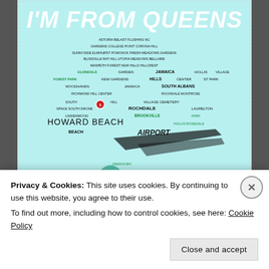[Figure (illustration): A typography art poster with a light blue/cyan background shaped like the Queens borough of New York City, made up of neighborhood names (Astoria, Flushing, Sunnyside, Forest Hills, Jamaica, Woodhaven, Howard Beach, Rockaway, etc.) in black and green text. The top reads 'I'M FROM QUEENS' in large white italic letters and the bottom reads 'I'M JUST LOUD.' in large white italic letters.]
Privacy & Cookies: This site uses cookies. By continuing to use this website, you agree to their use.
To find out more, including how to control cookies, see here: Cookie Policy
Close and accept